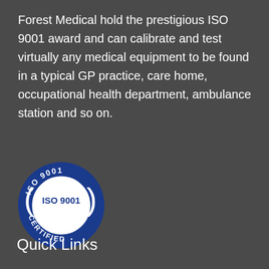Forest Medical hold the prestigious ISO 9001 award and can calibrate and test virtually any medical equipment to be found in a typical GP practice, care home, occupational health department, ambulance station and so on.
[Figure (logo): ISO 9001 Certified badge — circular blue border with white center, text 'ISO 9001' at top arc, 'ISO 9001' in blue in center circle, 'CERTIFIED' at bottom arc, with decorative bracket/parenthesis elements on left and right sides.]
Quick Links
› Home
›